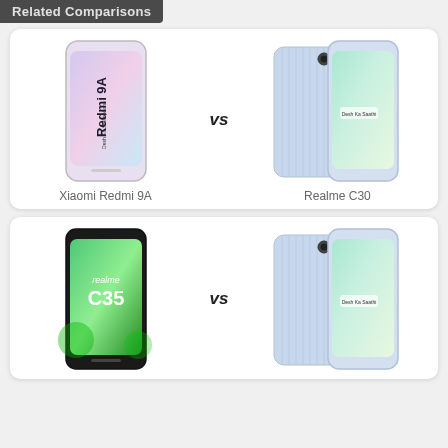Related Comparisons
[Figure (illustration): Comparison card showing Xiaomi Redmi 9A smartphone (left) vs Realme C30 smartphone (right) with VS label in center]
Xiaomi Redmi 9A
Realme C30
[Figure (illustration): Comparison card showing Realme C35 smartphone (left) vs Realme C30 smartphone (right) with VS label in center]